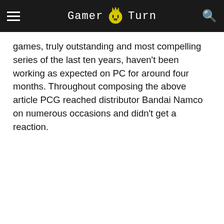Gamer Turn
games, truly outstanding and most compelling series of the last ten years, haven't been working as expected on PC for around four months. Throughout composing the above article PCG reached distributor Bandai Namco on numerous occasions and didn't get a reaction.